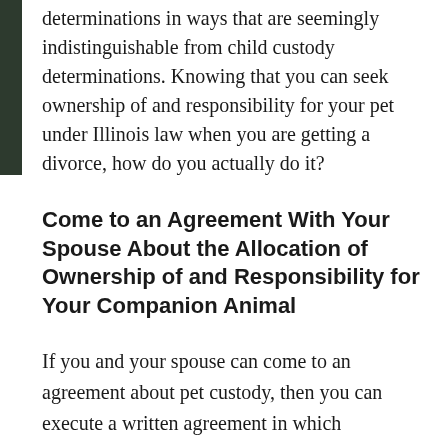determinations in ways that are seemingly indistinguishable from child custody determinations. Knowing that you can seek ownership of and responsibility for your pet under Illinois law when you are getting a divorce, how do you actually do it?
Come to an Agreement With Your Spouse About the Allocation of Ownership of and Responsibility for Your Companion Animal
If you and your spouse can come to an agreement about pet custody, then you can execute a written agreement in which